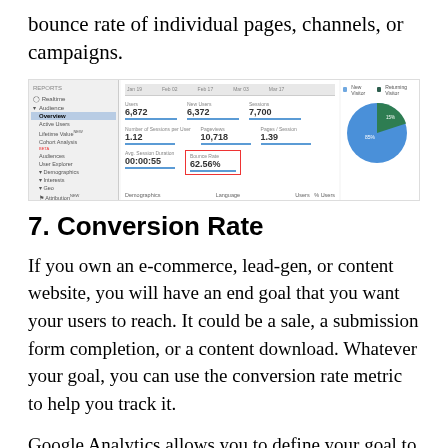bounce rate of individual pages, channels, or campaigns.
[Figure (screenshot): Google Analytics Audience Overview screenshot showing metrics: Users 6,872, New Users 6,372, Sessions 7,700, Number of Sessions per User 1.12, Pageviews 10,718, Pages/Session 1.39, Avg. Session Duration 00:00:55, Bounce Rate 62.56% (highlighted in red box), with a pie chart showing New Visitor vs Returning Visitor breakdown.]
7. Conversion Rate
If you own an e-commerce, lead-gen, or content website, you will have an end goal that you want your users to reach. It could be a sale, a submission form completion, or a content download. Whatever your goal, you can use the conversion rate metric to help you track it.
Google Analytics allows you to define your goal to use the conversion rate metric. You can then use the